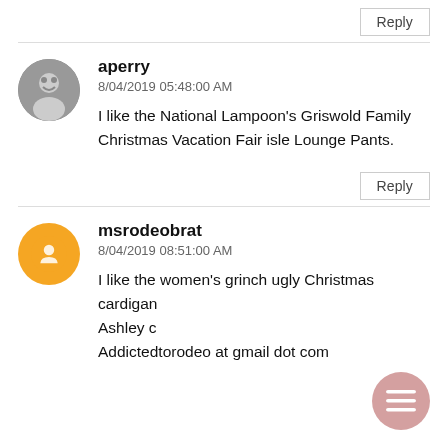Reply
aperry
8/04/2019 05:48:00 AM
I like the National Lampoon’s Griswold Family Christmas Vacation Fair isle Lounge Pants.
Reply
msrodeobrat
8/04/2019 08:51:00 AM
I like the women’s grinch ugly Christmas cardigan
Ashley c
Addictedtorodeo at gmail dot com